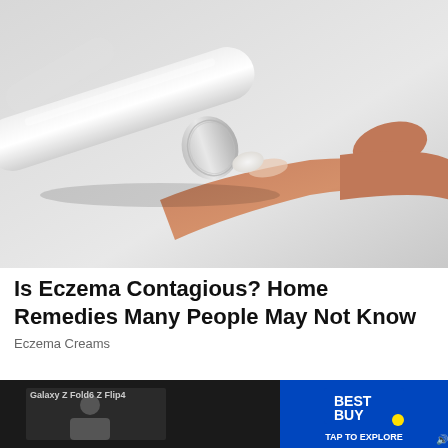[Figure (photo): Close-up photo of a hand squeezing cream from a small transparent tube onto a fingertip, against a light gray background]
Is Eczema Contagious? Home Remedies Many People May Not Know
Eczema Creams
[Figure (screenshot): Best Buy advertisement banner at the bottom with a video thumbnail on the left showing a person, Best Buy logo on the right, and TAP TO EXPLORE text]